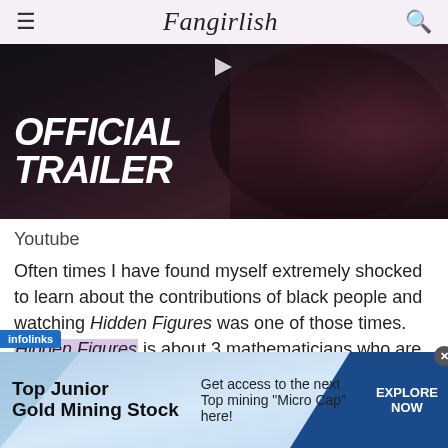Fangirlish
[Figure (screenshot): Video thumbnail showing 'OFFICIAL TRAILER' text overlay on a dark image of a person with hands clasped in prayer position, wearing a red top]
Youtube
Often times I have found myself extremely shocked to learn about the contributions of black people and watching Hidden Figures was one of those times. Hidden Figures is about 3 mathematicians who are not men but black women working for Nasa at the
[Figure (screenshot): infolinks ad banner overlay: Top Junior Gold Mining Stock - Get access to the next Top mining "Micro Cap" here! - EXPLORE NOW]